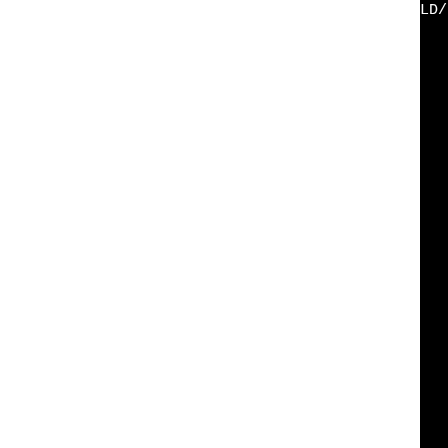[Figure (screenshot): Terminal/console output showing a partial build command for Apache httpd-2.2.32, with white text on black background. The left portion of the screen is white (blank), and the right side shows truncated command-line build output including compiler flags, include paths, and module directories.]